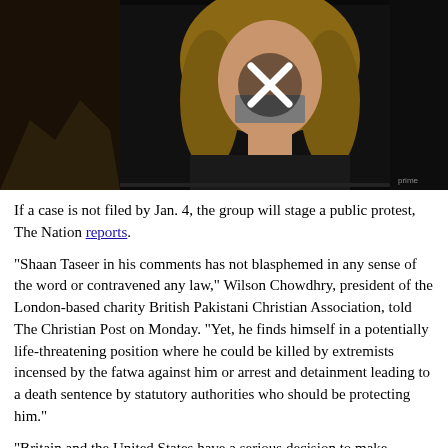[Figure (photo): A video thumbnail showing a blonde woman with tape over her mouth in the shape of an X. The background is dark with some scenery. A play button (X) overlay is visible in the center of the image.]
If a case is not filed by Jan. 4, the group will stage a public protest, The Nation reports.
"Shaan Taseer in his comments has not blasphemed in any sense of the word or contravened any law," Wilson Chowdhry, president of the London-based charity British Pakistani Christian Association, told The Christian Post on Monday. "Yet, he finds himself in a potentially life-threatening position where he could be killed by extremists incensed by the fatwa against him or arrest and detainment leading to a death sentence by statutory authorities who should be protecting him."
"Britain and the United States have a serious decision to make whether will they continue to sponsor a country to fight terrorism whilst it exhibits more extreme ideology than the terrorists that